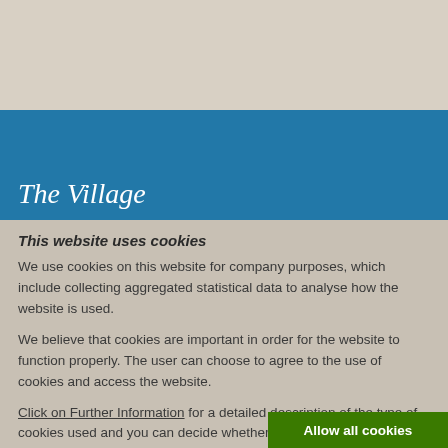The Village
This website uses cookies
We use cookies on this website for company purposes, which include collecting aggregated statistical data to analyse how the website is used.
We believe that cookies are important in order for the website to function properly. The user can choose to agree to the use of cookies and access the website.
Click on Further Information for a detailed description of the type of cookies used and you can decide whether to accept certain cookies during your visit to the website.
Allow all cookies